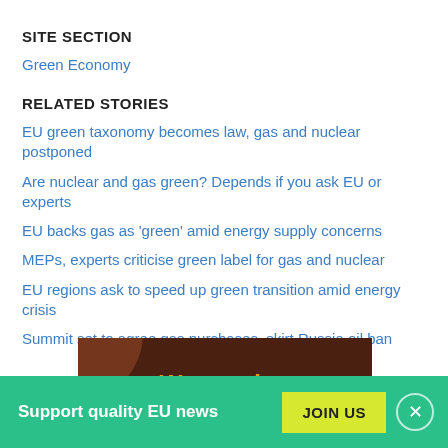SITE SECTION
Green Economy
RELATED STORIES
EU green taxonomy becomes law, gas and nuclear postponed
Are nuclear and gas green? Depends if you ask EU or experts
EU backs gas as 'green' amid energy supply concerns
MEPs, experts criticise green label for gas and nuclear
EU regions ask to speed up green transition amid energy crisis
Summit set to agree gas purchases, skirt Russia oil ban
[Figure (illustration): Brown advertisement banner with orange arc decoration and bold italic yellow-orange text beginning 'Want to be on top']
Support quality EU news
JOIN US